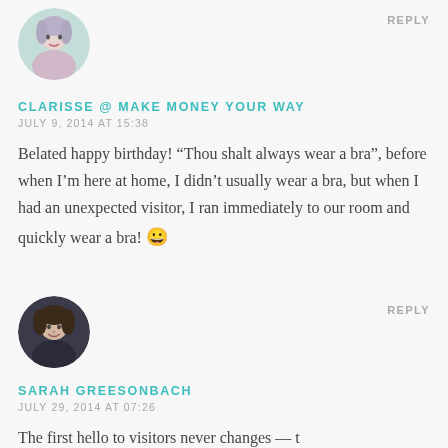[Figure (photo): Circular avatar of Clarisse, woman with light hair and purple highlights]
REPLY
CLARISSE @ MAKE MONEY YOUR WAY
JULY 9, 2014 AT 15:38
Belated happy birthday! “Thou shalt always wear a bra”, before when I’m here at home, I didn’t usually wear a bra, but when I had an unexpected visitor, I ran immediately to our room and quickly wear a bra! 😀
[Figure (photo): Circular avatar of Sarah Greesonbach, woman with short brown hair]
REPLY
SARAH GREESONBACH
JULY 29, 2014 AT 07:26